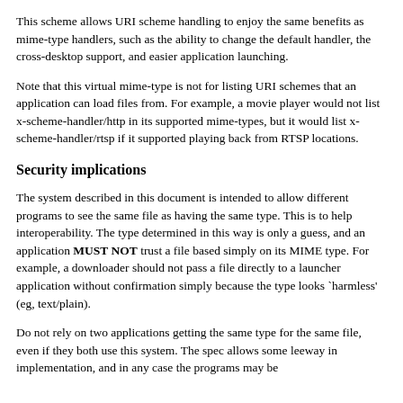This scheme allows URI scheme handling to enjoy the same benefits as mime-type handlers, such as the ability to change the default handler, the cross-desktop support, and easier application launching.
Note that this virtual mime-type is not for listing URI schemes that an application can load files from. For example, a movie player would not list x-scheme-handler/http in its supported mime-types, but it would list x-scheme-handler/rtsp if it supported playing back from RTSP locations.
Security implications
The system described in this document is intended to allow different programs to see the same file as having the same type. This is to help interoperability. The type determined in this way is only a guess, and an application MUST NOT trust a file based simply on its MIME type. For example, a downloader should not pass a file directly to a launcher application without confirmation simply because the type looks `harmless' (eg, text/plain).
Do not rely on two applications getting the same type for the same file, even if they both use this system. The spec allows some leeway in implementation, and in any case the programs may be following different versions of the spec.